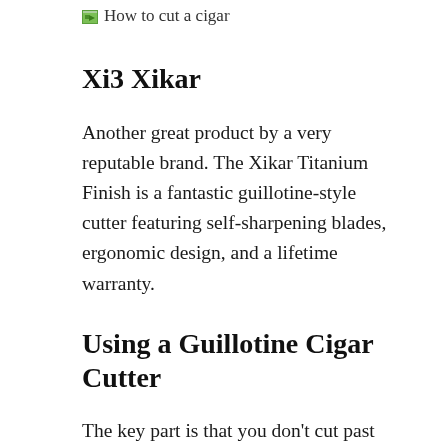How to cut a cigar
Xi3 Xikar
Another great product by a very reputable brand. The Xikar Titanium Finish is a fantastic guillotine-style cutter featuring self-sharpening blades, ergonomic design, and a lifetime warranty.
Using a Guillotine Cigar Cutter
The key part is that you don’t cut past the cap and into the shoulder. Line up the cut and don’t rush into it. Place the cigar into the